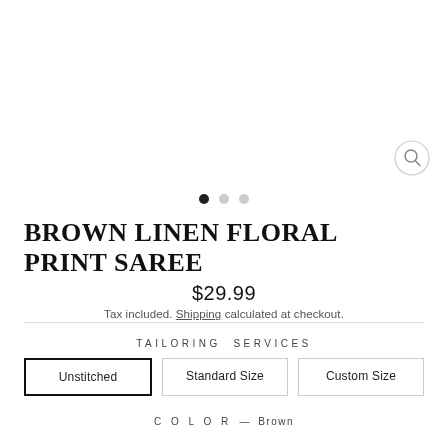[Figure (other): Product image area with zoom/search icon in top right and carousel navigation dots below]
BROWN LINEN FLORAL PRINT SAREE
$29.99
Tax included. Shipping calculated at checkout.
TAILORING SERVICES
Unstitched | Standard Size | Custom Size
COLOR — Brown